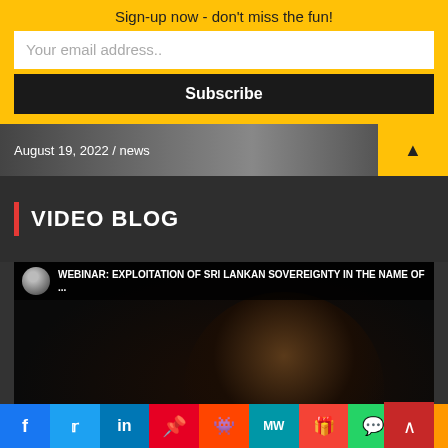Sign-up now - don't miss the fun!
Your email address..
Subscribe
August 19, 2022 / news
VIDEO BLOG
[Figure (screenshot): Video thumbnail showing a webinar titled 'WEBINAR: EXPLOITATION OF SRI LANKAN SOVEREIGNTY IN THE NAME OF ...' with a person's face visible]
FEATURE VIDEOS  LF  VIDEO GALLERY ▸
f  Twitter  in  Pinterest  Reddit  MW  Mix  WhatsApp  More